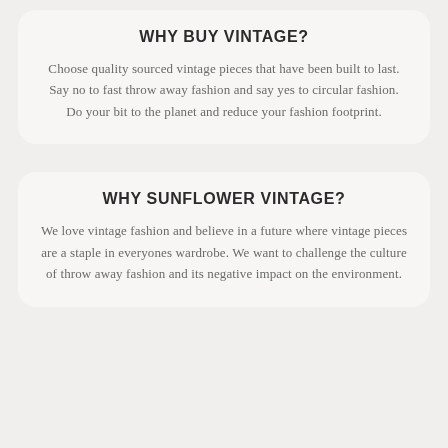WHY BUY VINTAGE?
Choose quality sourced vintage pieces that have been built to last. Say no to fast throw away fashion and say yes to circular fashion. Do your bit to the planet and reduce your fashion footprint.
WHY SUNFLOWER VINTAGE?
We love vintage fashion and believe in a future where vintage pieces are a staple in everyones wardrobe. We want to challenge the culture of throw away fashion and its negative impact on the environment.